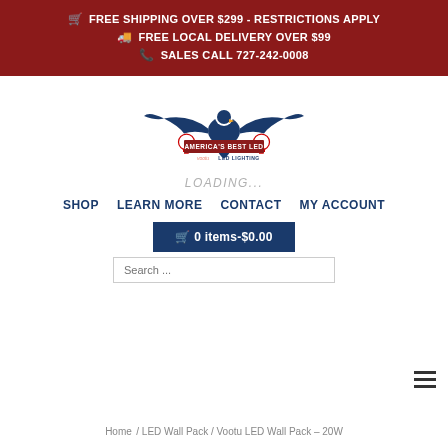FREE SHIPPING OVER $299 - restrictions apply | FREE LOCAL DELIVERY OVER $99 | SALES CALL 727-242-0008
[Figure (logo): America's Best LED / Vootu LED Lighting eagle logo with lightbulbs]
LOADING...
SHOP   LEARN MORE   CONTACT   MY ACCOUNT
0 items-$0.00
Search ...
Home / LED Wall Pack / Vootu LED Wall Pack – 20W